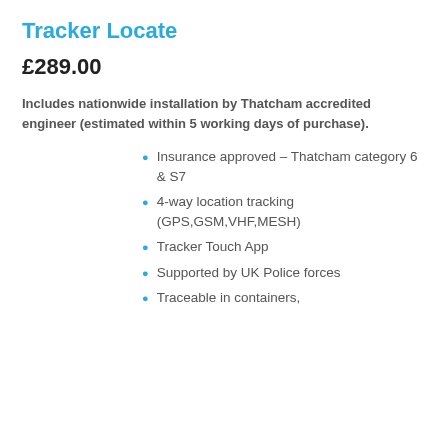Tracker Locate
£289.00
Includes nationwide installation by Thatcham accredited engineer (estimated within 5 working days of purchase).
Insurance approved – Thatcham category 6 & S7
4-way location tracking (GPS,GSM,VHF,MESH)
Tracker Touch App
Supported by UK Police forces
Traceable in containers,